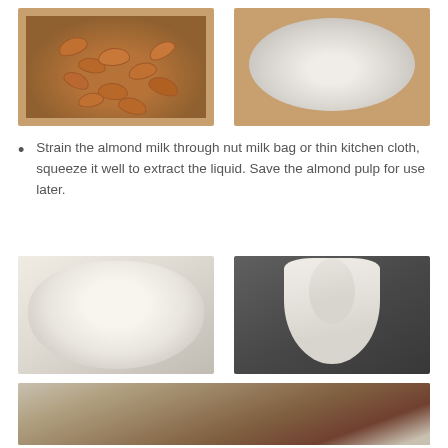[Figure (photo): Almonds soaking in water in a blender or container]
[Figure (photo): Fine almond powder or ground almonds in a bowl]
Strain the almond milk through nut milk bag or thin kitchen cloth, squeeze it well to extract the liquid. Save the almond pulp for use later.
[Figure (photo): Almond milk being strained through a cloth in a bowl, showing the foamy white liquid]
[Figure (photo): Nut milk bag squeezed into a ball shape over a dark strainer bowl]
[Figure (photo): Almond pulp remaining in the cloth after straining]